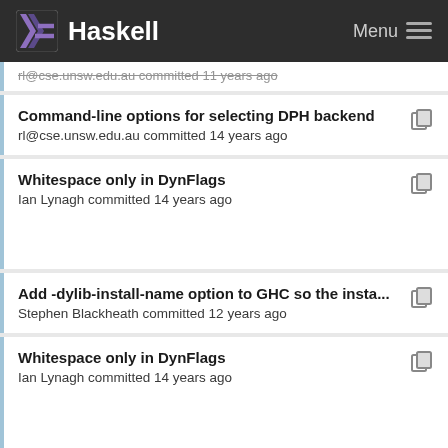Haskell | Menu
rl@cse.unsw.edu.au committed 11 years ago
Command-line options for selecting DPH backend
rl@cse.unsw.edu.au committed 14 years ago
Whitespace only in DynFlags
Ian Lynagh committed 14 years ago
Add -dylib-install-name option to GHC so the insta...
Stephen Blackheath committed 12 years ago
Whitespace only in DynFlags
Ian Lynagh committed 14 years ago
Switch the default -dynload mode to SystemDepe